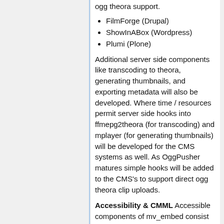ogg theora support.
FilmForge (Drupal)
ShowInABox (Wordpress)
Plumi (Plone)
Additional server side components like transcoding to theora, generating thumbnails, and exporting metadata will also be developed. Where time / resources permit server side hooks into ffmepg2theora (for transcoding) and mplayer (for generating thumbnails) will be developed for the CMS systems as well. As OggPusher matures simple hooks will be added to the CMS's to support direct ogg theora clip uploads.
Accessibility & CMML Accessible components of mv_embed consist of obtaining the metadata and putting it into the dom as a child of the video element. Mv_Embed will offer a reference